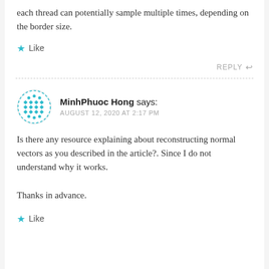each thread can potentially sample multiple times, depending on the border size.
Like
REPLY
MinhPhuoc Hong says: AUGUST 12, 2020 AT 2:17 PM
Is there any resource explaining about reconstructing normal vectors as you described in the article?. Since I do not understand why it works.

Thanks in advance.
Like